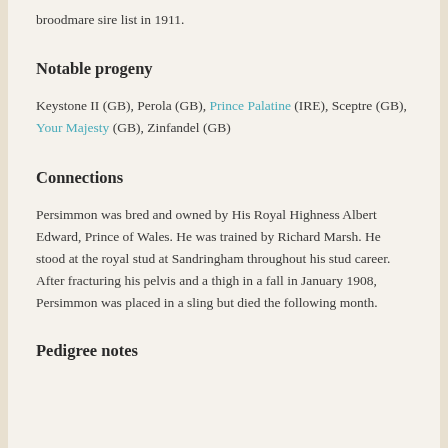broodmare sire list in 1911.
Notable progeny
Keystone II (GB), Perola (GB), Prince Palatine (IRE), Sceptre (GB), Your Majesty (GB), Zinfandel (GB)
Connections
Persimmon was bred and owned by His Royal Highness Albert Edward, Prince of Wales. He was trained by Richard Marsh. He stood at the royal stud at Sandringham throughout his stud career. After fracturing his pelvis and a thigh in a fall in January 1908, Persimmon was placed in a sling but died the following month.
Pedigree notes